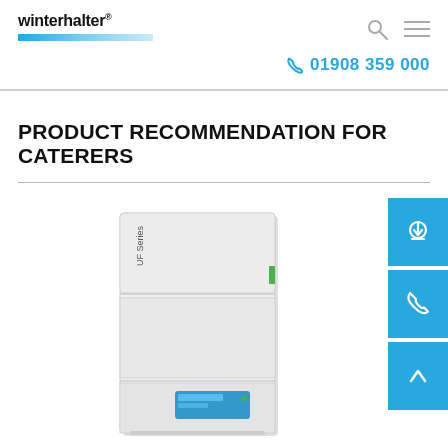winterhalter® — 01908 359 000
PRODUCT RECOMMENDATION FOR CATERERS
[Figure (photo): Winterhalter UF Series commercial dishwasher, a tall stainless steel upright unit with blue control panel at the bottom.]
[Figure (infographic): Three cyan/blue side action buttons: download icon, phone icon, and up arrow icon.]